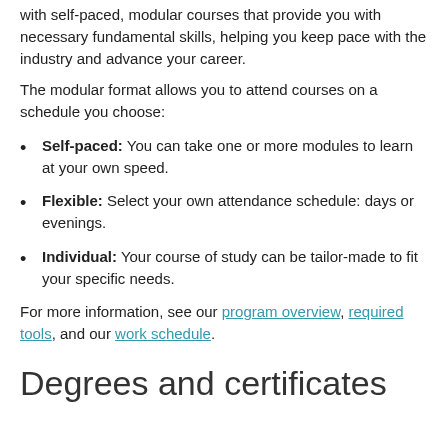with self-paced, modular courses that provide you with necessary fundamental skills, helping you keep pace with the industry and advance your career.
The modular format allows you to attend courses on a schedule you choose:
Self-paced: You can take one or more modules to learn at your own speed.
Flexible: Select your own attendance schedule: days or evenings.
Individual: Your course of study can be tailor-made to fit your specific needs.
For more information, see our program overview, required tools, and our work schedule.
Degrees and certificates